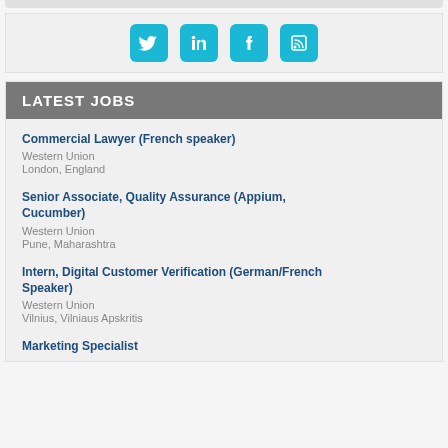[Figure (infographic): Social media icons: Twitter, LinkedIn, Facebook, RSS feed — cyan/teal colored icons in rounded square buttons]
LATEST JOBS
Commercial Lawyer (French speaker)
Western Union
London, England
Senior Associate, Quality Assurance (Appium, Cucumber)
Western Union
Pune, Maharashtra
Intern, Digital Customer Verification (German/French Speaker)
Western Union
Vilnius, Vilniaus Apskritis
Marketing Specialist